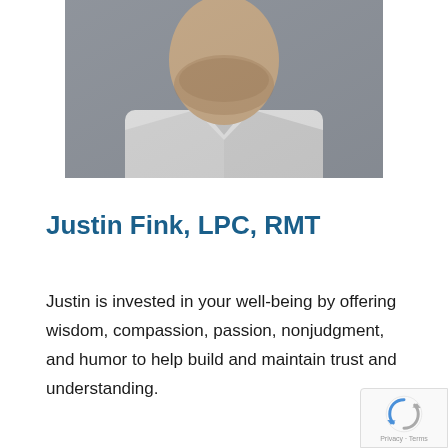[Figure (photo): Professional headshot of a bearded man in a white collared shirt against a gray background, cropped at chin level showing shoulders and upper chest]
Justin Fink, LPC, RMT
Justin is invested in your well-being by offering wisdom, compassion, passion, nonjudgment, and humor to help build and maintain trust and understanding.